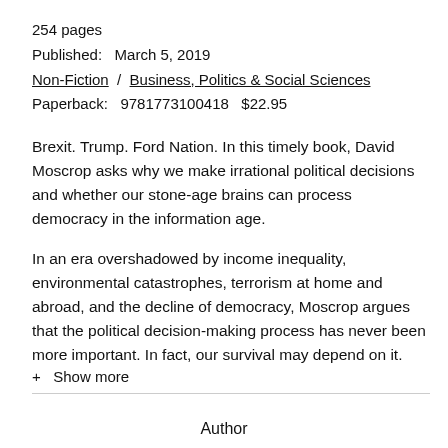254 pages
Published:   March 5, 2019
Non-Fiction  /  Business, Politics & Social Sciences
Paperback:   9781773100418   $22.95
Brexit. Trump. Ford Nation. In this timely book, David Moscrop asks why we make irrational political decisions and whether our stone-age brains can process democracy in the information age.
In an era overshadowed by income inequality, environmental catastrophes, terrorism at home and abroad, and the decline of democracy, Moscrop argues that the political decision-making process has never been more important. In fact, our survival may depend on it.
+ Show more
Author